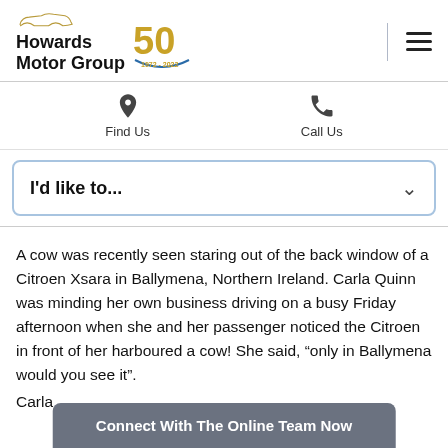[Figure (logo): Howards Motor Group logo with '50' anniversary badge (1972-2022) and car silhouette icon]
Find Us
Call Us
I'd like to...
A cow was recently seen staring out of the back window of a Citroen Xsara in Ballymena, Northern Ireland. Carla Quinn was minding her own business driving on a busy Friday afternoon when she and her passenger noticed the Citroen in front of her harboured a cow! She said, “only in Ballymena would you see it”.
Carla
Connect With The Online Team Now